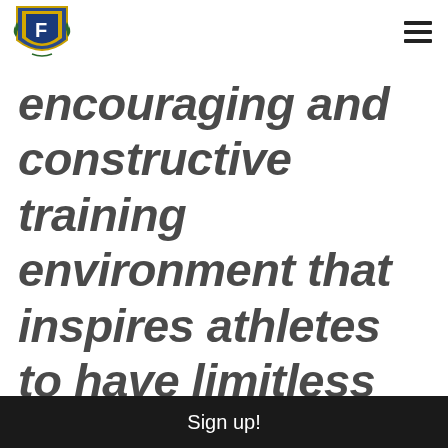[Forza Athletics logo] [hamburger menu]
encouraging and constructive training environment that inspires athletes to have limitless dreams surrounding their potential as athletes. This
Sign up!